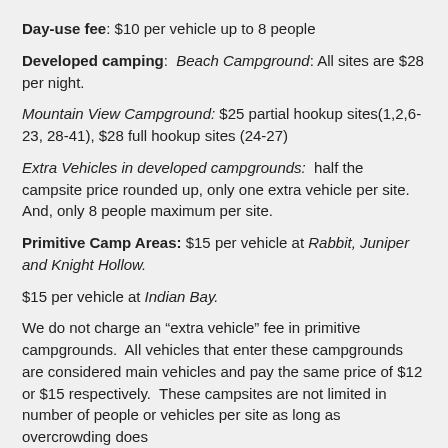Day-use fee: $10 per vehicle up to 8 people
Developed camping: Beach Campground: All sites are $28 per night.
Mountain View Campground: $25 partial hookup sites(1,2,6-23, 28-41), $28 full hookup sites (24-27)
Extra Vehicles in developed campgrounds: half the campsite price rounded up, only one extra vehicle per site. And, only 8 people maximum per site.
Primitive Camp Areas: $15 per vehicle at Rabbit, Juniper and Knight Hollow.
$15 per vehicle at Indian Bay.
We do not charge an “extra vehicle” fee in primitive campgrounds. All vehicles that enter these campgrounds are considered main vehicles and pay the same price of $12 or $15 respectively. These campsites are not limited in number of people or vehicles per site as long as overcrowding does